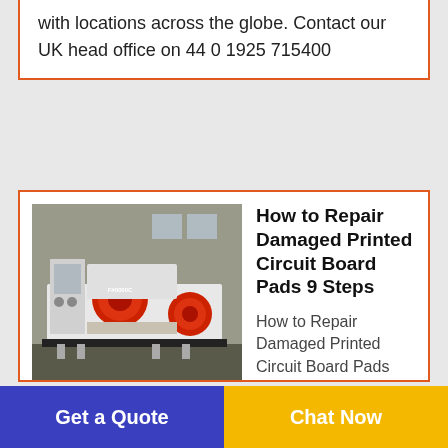with locations across the globe. Contact our UK head office on 44 0 1925 715400
[Figure (photo): Industrial machine, appears to be a PCB processing or shredding machine, white and red colored, in a warehouse setting]
How to Repair Damaged Printed Circuit Board Pads 9 Steps
How to Repair Damaged Printed Circuit Board Pads This is a simple guide detailing how to repair damaged pads on a PCB.Printed Circuit Boards PCB are made from layers of fibreglass and copper glued together. Whilst the glues used are very heat resistant it is
Get a Quote
Chat Now